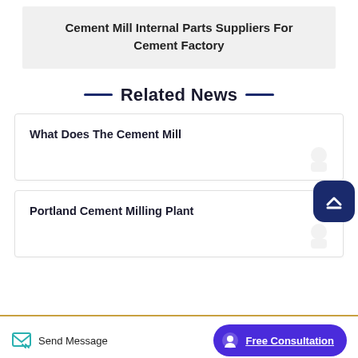Cement Mill Internal Parts Suppliers For Cement Factory
Related News
What Does The Cement Mill
Portland Cement Milling Plant
Send Message   Free Consultation